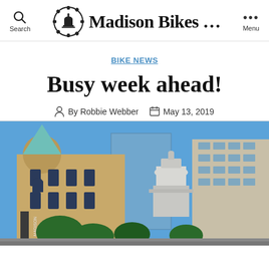Madison Bikes ...
BIKE NEWS
Busy week ahead!
By Robbie Webber   May 13, 2019
[Figure (photo): Street-level photo of downtown Madison, Wisconsin, showing historic buildings with a teal-roofed turret in the foreground and the Wisconsin State Capitol dome visible in the background center, under a clear blue sky with trees in the lower portion.]